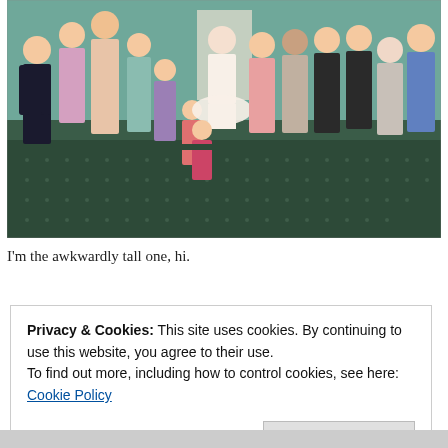[Figure (photo): Group photo of approximately 15-16 people, mostly teenage girls and a few adults, standing together indoors at what appears to be a formal event. One person in the center is dressed in a white tutu/ballet outfit. The background shows a green patterned carpet and a hallway.]
I'm the awkwardly tall one, hi.
Privacy & Cookies: This site uses cookies. By continuing to use this website, you agree to their use.
To find out more, including how to control cookies, see here: Cookie Policy